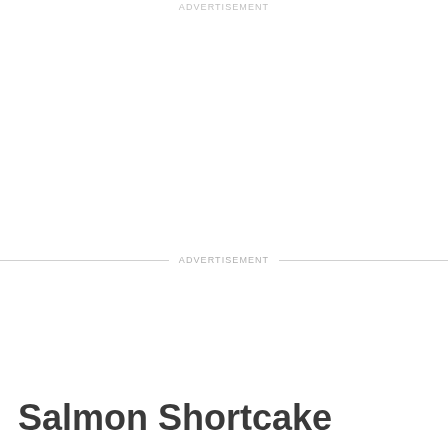ADVERTISEMENT
ADVERTISEMENT
Salmon Shortcake